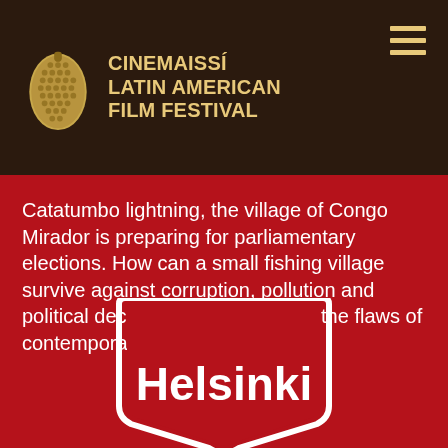CINEMAISSÍ LATIN AMERICAN FILM FESTIVAL
Catatumbo lightning, the village of Congo Mirador is preparing for parliamentary elections. How can a small fishing village survive against corruption, pollution and political decay – a reflection of all the flaws of contemporary Venezuela.
[Figure (logo): City of Helsinki logo — white shield shape with 'Helsinki' text in bold white on dark red background]